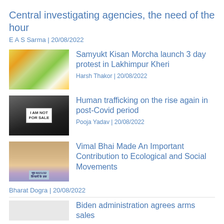Central investigating agencies, the need of the hour
E A S Sarma | 20/08/2022
Samyukt Kisan Morcha launch 3 day protest in Lakhimpur Kheri
Harsh Thakor | 20/08/2022
Human trafficking on the rise again in post-Covid period
Pooja Yadav | 20/08/2022
Vimal Bhai Made An Important Contribution to Ecological and Social Movements
Bharat Dogra | 20/08/2022
Biden administration agrees arms sales